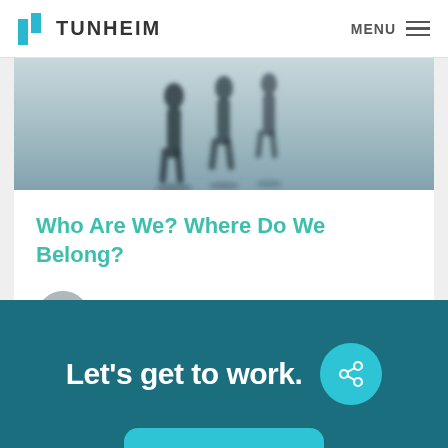TUNHEIM   MENU
[Figure (photo): Black and white photo of people walking, motion blurred, dark silhouettes against a light background]
Who Are We? Where Do We Belong?
Kathy Tunheim
Let's get to work.